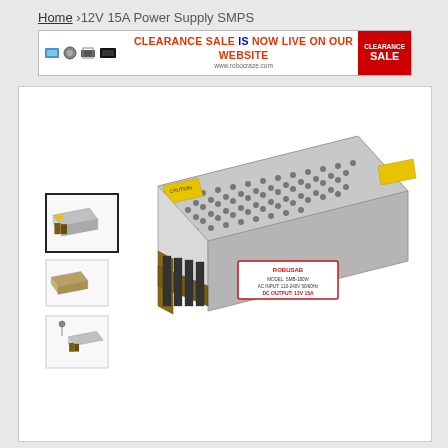Home › 12V 15A Power Supply SMPS
[Figure (photo): Clearance Sale banner advertisement showing electronic components with text: CLEARANCE SALE IS NOW LIVE ON OUR WEBSITE www.robocraze.com, with red CLEARANCE SALE badge on right]
[Figure (photo): Product page showing a 12V 15A Power Supply SMPS (Switched Mode Power Supply) in silver metal enclosure with ventilation holes, yellow warning stickers, and terminal connectors. Three thumbnail images shown on left side.]